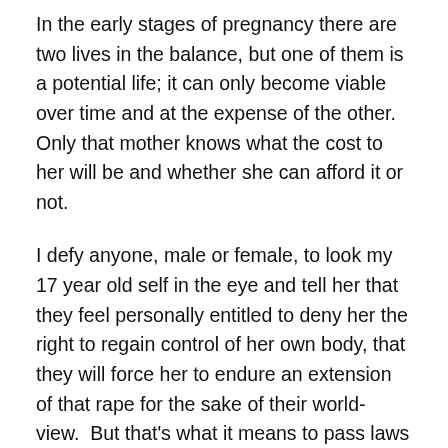In the early stages of pregnancy there are two lives in the balance, but one of them is a potential life; it can only become viable over time and at the expense of the other. Only that mother knows what the cost to her will be and whether she can afford it or not.
I defy anyone, male or female, to look my 17 year old self in the eye and tell her that they feel personally entitled to deny her the right to regain control of her own body, that they will force her to endure an extension of that rape for the sake of their world-view. But that's what it means to pass laws that frame the kinds of restrictions our legislature are discussing right now. Where will the pundits and the politicans or the panels of experts be during the long, frightened nights and days of an unwanted pregnancy, or during the storms of labour? Will they be the ones to cope with the consequences, to the